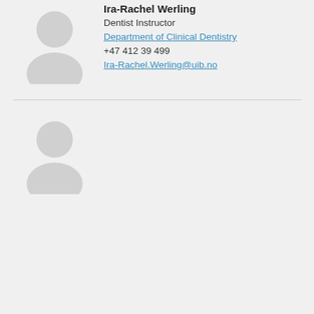[Figure (photo): Generic placeholder avatar silhouette for a person, light gray, top half of page]
Ira-Rachel Werling
Dentist Instructor
Department of Clinical Dentistry
+47 412 39 499
Ira-Rachel.Werling@uib.no
[Figure (photo): Generic placeholder avatar silhouette for a person, light gray, bottom half of page]